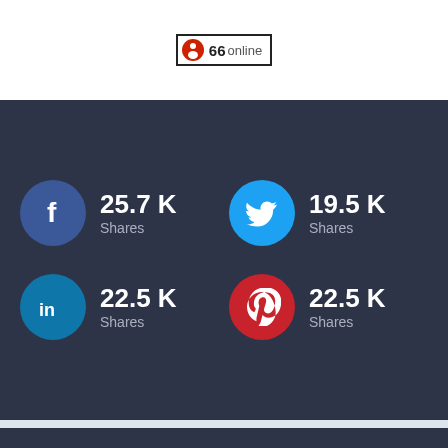[Figure (infographic): Online visitor counter badge showing '66 online' with a red person icon and black border]
[Figure (infographic): Social media shares infographic on dark background showing: Facebook 25.7K Shares, Twitter 19.5K Shares, LinkedIn 22.5K Shares, Pinterest 22.5K Shares]